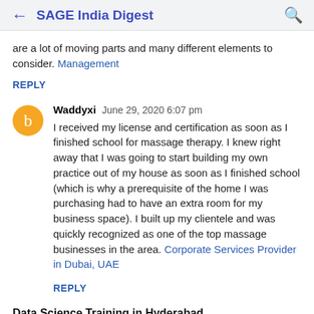← SAGE India Digest 🔍
are a lot of moving parts and many different elements to consider. Management
REPLY
Waddyxi   June 29, 2020 6:07 pm
I received my license and certification as soon as I finished school for massage therapy. I knew right away that I was going to start building my own practice out of my house as soon as I finished school (which is why a prerequisite of the home I was purchasing had to have an extra room for my business space). I built up my clientele and was quickly recognized as one of the top massage businesses in the area. Corporate Services Provider in Dubai, UAE
REPLY
Data Science Training in Hyderabad